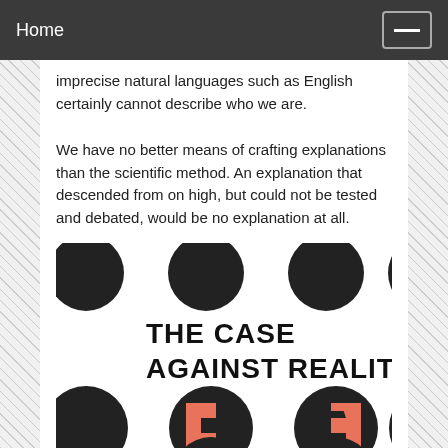Home
imprecise natural languages such as English certainly cannot describe who we are.
We have no better means of crafting explanations than the scientific method. An explanation that descended from on high, but could not be tested and debated, would be no explanation at all.
[Figure (illustration): Book cover of 'The Case Against Reality' featuring black circles on a white background with salmon/orange geometric arrow symbols inside some circles.]